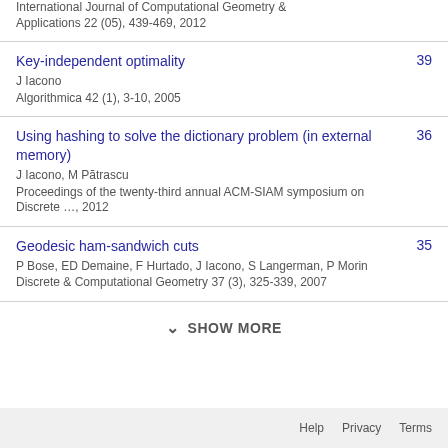International Journal of Computational Geometry & Applications 22 (05), 439-469, 2012
Key-independent optimality
J Iacono
Algorithmica 42 (1), 3-10, 2005
39
Using hashing to solve the dictionary problem (in external memory)
J Iacono, M Pătrascu
Proceedings of the twenty-third annual ACM-SIAM symposium on Discrete …, 2012
36
Geodesic ham-sandwich cuts
P Bose, ED Demaine, F Hurtado, J Iacono, S Langerman, P Morin
Discrete & Computational Geometry 37 (3), 325-339, 2007
35
SHOW MORE
Help  Privacy  Terms